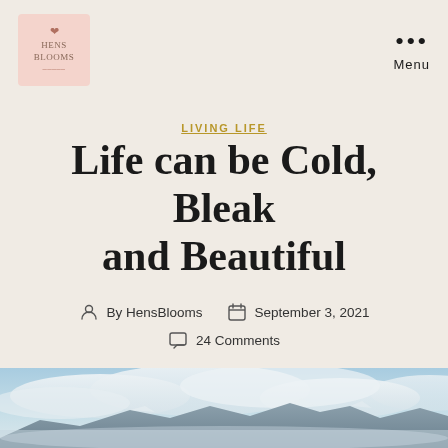HENS BLOOMS — Menu
LIVING LIFE
Life can be Cold, Bleak and Beautiful
By HensBlooms   September 3, 2021   24 Comments
[Figure (photo): Landscape photo showing mountains with snow and dramatic cloudy sky, low visibility fog]